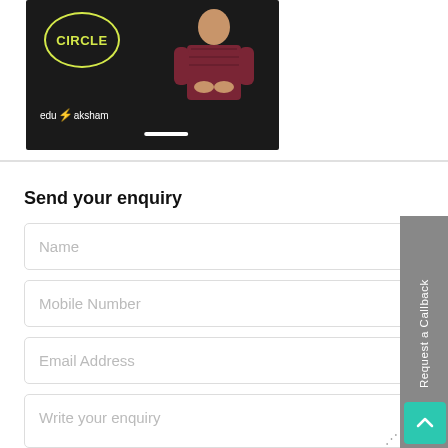[Figure (screenshot): Video thumbnail showing a man in a dark room with the word CIRCLE in yellow-green text inside a circle outline, and 'edu aksham' branding at bottom left, with a white progress bar]
Send your enquiry
Name
Mobile Number
Email Address
Write your enquiry
Request a Callback